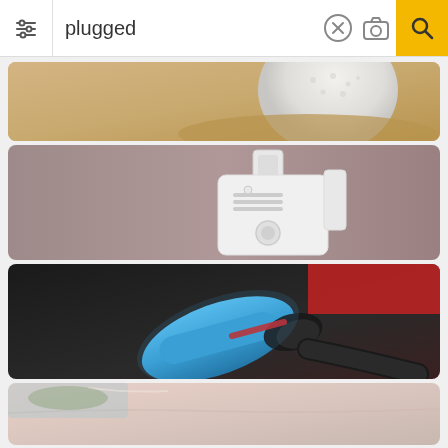[Figure (screenshot): Search engine interface with search bar showing the query 'plugged', filter icon on left, clear (X) and camera icons, and yellow search button on right]
[Figure (photo): Close-up photo of a golf ball sitting in sand on a golf course]
[Figure (photo): A white carbon monoxide or smoke detector plugged into a wall outlet against a brown/mauve wall]
[Figure (photo): Electric vehicle charging plug (blue and black) connected to a car charging port, with red vehicle visible in background]
[Figure (photo): Partial view of a car interior or exterior, light beige/pink tones, partially cut off at bottom of page]